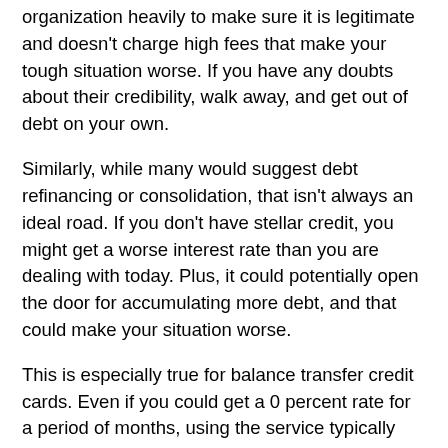organization heavily to make sure it is legitimate and doesn't charge high fees that make your tough situation worse. If you have any doubts about their credibility, walk away, and get out of debt on your own.
Similarly, while many would suggest debt refinancing or consolidation, that isn't always an ideal road. If you don't have stellar credit, you might get a worse interest rate than you are dealing with today. Plus, it could potentially open the door for accumulating more debt, and that could make your situation worse.
This is especially true for balance transfer credit cards. Even if you could get a 0 percent rate for a period of months, using the service typically comes with a fee (around 3 percent of the amount transferred). Plus, if you miss a payment, you might lose the promotional rate, leaving you stuck with the regular (or even a penalty) rate instead.